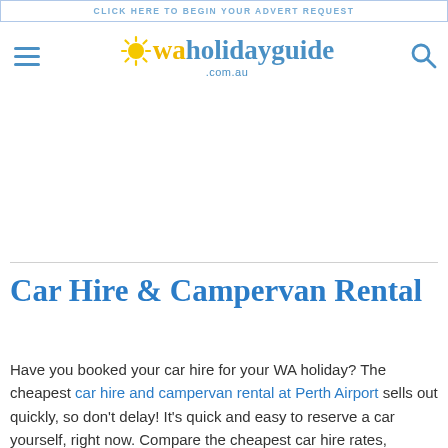CLICK HERE TO BEGIN YOUR ADVERT REQUEST
[Figure (logo): WA Holiday Guide logo with sun icon, yellow 'wa' text and blue 'holidayguide .com.au' text, with hamburger menu icon on left and search icon on right]
Car Hire & Campervan Rental
Have you booked your car hire for your WA holiday? The cheapest car hire and campervan rental at Perth Airport sells out quickly, so don't delay! It's quick and easy to reserve a car yourself, right now. Compare the cheapest car hire rates, availability and book your car rental